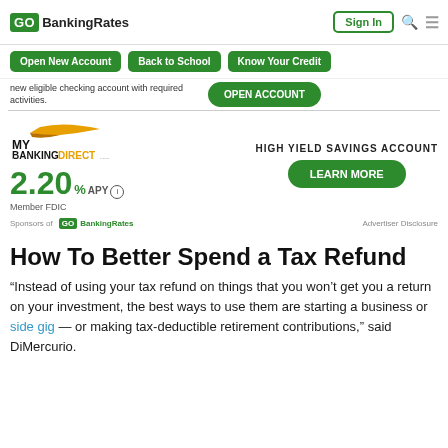GO BankingRates | Sign In
Open New Account | Back to School | Know Your Credit
new eligible checking account with required activities.
[Figure (logo): MY BANKING DIRECT logo with swoosh graphic]
HIGH YIELD SAVINGS ACCOUNT
2.20 % APY Member FDIC
LEARN MORE
Sponsors of GO BankingRates   Advertiser Disclosure
How To Better Spend a Tax Refund
“Instead of using your tax refund on things that you won’t get you a return on your investment, the best ways to use them are starting a business or side gig — or making tax-deductible retirement contributions,” said DiMercurio.